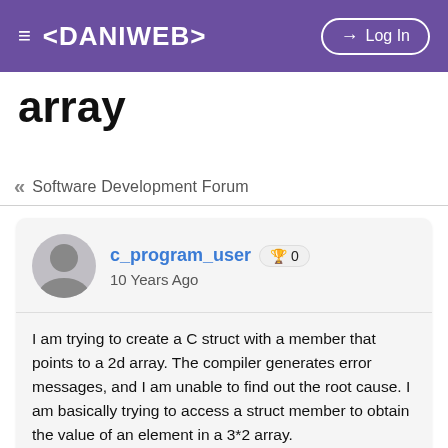≡ <DANIWEB>   → Log In
array
« Software Development Forum
c_program_user 🏆 0
10 Years Ago
I am trying to create a C struct with a member that points to a 2d array. The compiler generates error messages, and I am unable to find out the root cause. I am basically trying to access a struct member to obtain the value of an element in a 3*2 array.

Any help would be appreciated.
// THIS IS TYPEDEF OF STRUCTURE